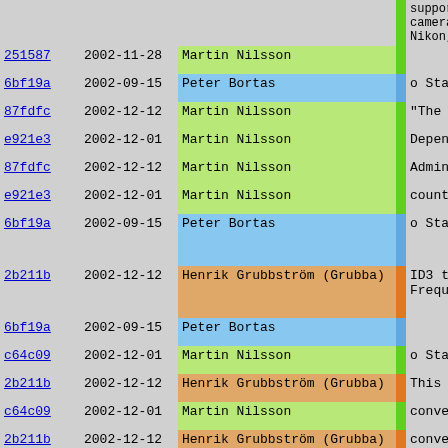| Hash | Date | Author |  | Description |
| --- | --- | --- | --- | --- |
|  |  |  |  | support cameras Nikon, C |
| 251587 | 2002-11-28 | Martin Nilsson |  |  |
| 6bf19a | 2002-09-15 | Peter Bortas |  | o Standards |
| 87fdfc | 2002-12-12 | Martin Nilsson |  | "The Fe |
| e921e3 | 2002-12-01 | Martin Nilsson |  | Depender |
| 87fdfc | 2002-12-12 | Martin Nilsson |  | Administ |
| e921e3 | 2002-12-01 | Martin Nilsson |  | country |
| 6bf19a | 2002-09-15 | Peter Bortas |  | o Standards |
| 2b211b | 2002-12-12 | Henrik Grubbström (Grubba) |  | ID3 tag Frequent |
| 6bf19a | 2002-09-15 | Peter Bortas |  |  |
| c64c09 | 2002-12-01 | Martin Nilsson |  | o Standards |
| 2b211b | 2002-12-12 | Henrik Grubbström (Grubba) |  | This mo |
| c64c09 | 2002-12-01 | Martin Nilsson |  | convert |
| 2b211b | 2002-12-12 | Henrik Grubbström (Grubba) |  | convert_ |
| c64c09 | 2002-12-01 | Martin Nilsson |  | between |
|  |  | Peter Bortas |  | Stan |